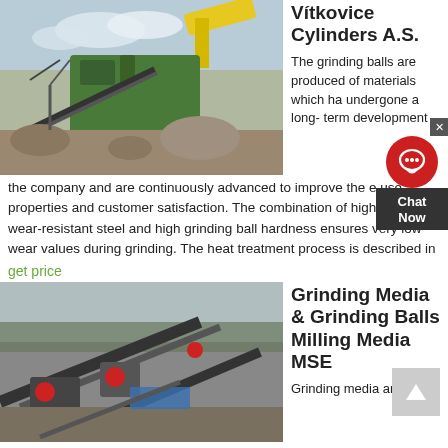[Figure (photo): Industrial crusher/mining machinery - green conveyor and crushing equipment with yellow crane in background, outdoors with rocks and soil]
Vítkovice Cylinders A.S.
The grinding balls are produced of materials which have undergone a long-term development the company and are continuously advanced to improve the ease use properties and customer satisfaction. The combination of high-quality wear-resistant steel and high grinding ball hardness ensures very low wear values during grinding. The heat treatment process is described in
get price
[Figure (photo): Industrial mining conveyor belt system with multiple belts and machinery, aerial or elevated view]
Grinding Media & Grinding Balls Milling Media MSE
Grinding media and